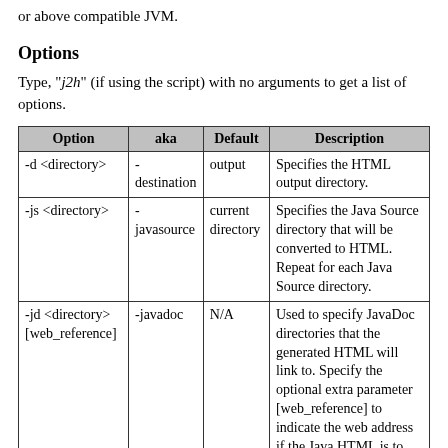JavaDoc2HTML is written in Java and therefore needs a 1.1.x or above compatible JVM.
Options
Type, "j2h" (if using the script) with no arguments to get a list of options.
| Option | aka | Default | Description |
| --- | --- | --- | --- |
| -d <directory> | -destination | output | Specifies the HTML output directory. |
| -js <directory> | -javasource | current directory | Specifies the Java Source directory that will be converted to HTML. Repeat for each Java Source directory. |
| -jd <directory> [web_reference] | -javadoc | N/A | Used to specify JavaDoc directories that the generated HTML will link to. Specify the optional extra parameter [web_reference] to indicate the web address if the Java HTML is to |